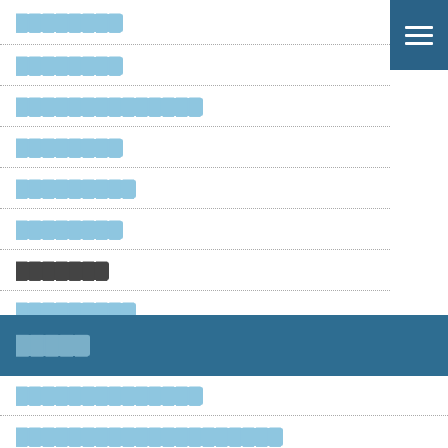[redacted nav item 1]
[redacted nav item 2]
[redacted nav item 3 - longer]
[redacted nav item 4]
[redacted nav item 5]
[redacted nav item 6]
[redacted nav item 7 - dark]
[redacted nav item 8]
[redacted section banner]
[redacted sub-nav item 1]
[redacted sub-nav item 2]